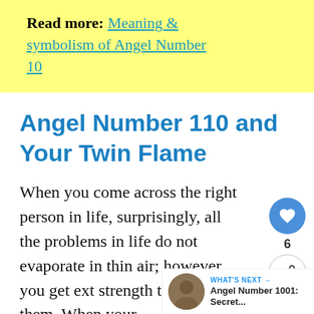Read more: Meaning & symbolism of Angel Number 10
Angel Number 110 and Your Twin Flame
When you come across the right person in life, surprisingly, all the problems in life do not evaporate in thin air; however, you get ext strength to fight with them. When your